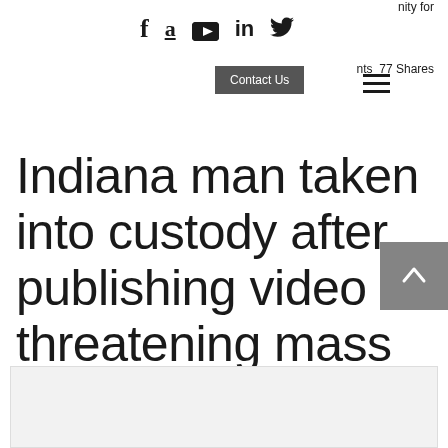f  a  ▶  in  🐦  Contact Us  ☰  nts  77 Shares
Indiana man taken into custody after publishing video threatening mass murder.
Quick action by concerned citizens who reported a chilling video published on social media by a man threatening " f...